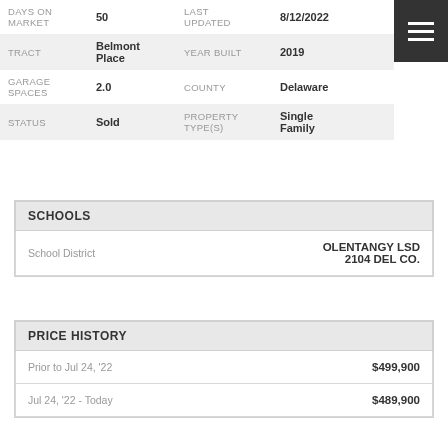| Label | Value | Label2 | Value2 |
| --- | --- | --- | --- |
| DAYS ON MARKET | 50 | LAST UPDATED | 8/12/2022 |
| TRACT | Belmont Place | YEAR BUILT | 2019 |
| GARAGE SPACES | 2.0 | COUNTY | Delaware |
| STATUS | Sold | PROPERTY TYPE(S) | Single Family |
SCHOOLS
| School District | Value |
| --- | --- |
| School District | OLENTANGY LSD 2104 DEL CO. |
PRICE HISTORY
| Period | Price |
| --- | --- |
| Prior to Jul 24, '22 | $499,900 |
| Jul 24, '22 - Today | $489,900 |